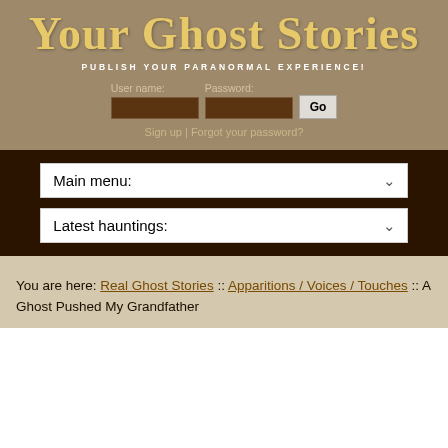Your Ghost Stories
PUBLISH YOUR PARANORMAL EXPERIENCE!
User name: Password: [input fields] Go
Sign up | Forgot your password?
Main menu:
Latest hauntings:
You are here: Real Ghost Stories :: Apparitions / Voices / Touches :: A Ghost Pushed My Grandfather